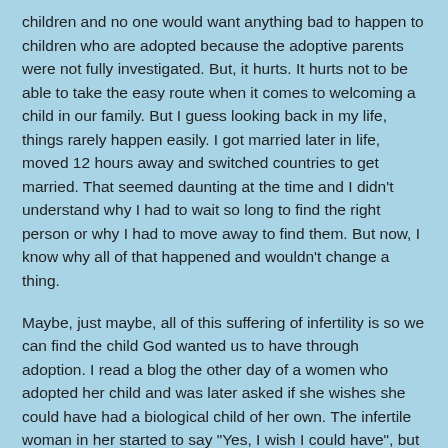children and no one would want anything bad to happen to children who are adopted because the adoptive parents were not fully investigated. But, it hurts. It hurts not to be able to take the easy route when it comes to welcoming a child in our family. But I guess looking back in my life, things rarely happen easily. I got married later in life, moved 12 hours away and switched countries to get married. That seemed daunting at the time and I didn't understand why I had to wait so long to find the right person or why I had to move away to find them. But now, I know why all of that happened and wouldn't change a thing.
Maybe, just maybe, all of this suffering of infertility is so we can find the child God wanted us to have through adoption. I read a blog the other day of a women who adopted her child and was later asked if she wishes she could have had a biological child of her own. The infertile woman in her started to say "Yes, I wish I could have", but then she realized if she would have had a biological child she would not have the child she has through adoption and she can't imagine her life without them. I have a feeling that I will feel the same one day. But for now, I just need to get through all this